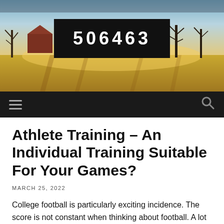[Figure (photo): Landscape photo of a farm with a red barn, bare trees, green fields with long shadows, and a glowing sunset sky.]
506463
Navigation bar with hamburger menu and search icon
Athlete Training – An Individual Training Suitable For Your Games?
MARCH 25, 2022
College football is particularly exciting incidence. The score is not constant when thinking about football. A lot of things could change from a split second. This has happened several times in different games. The